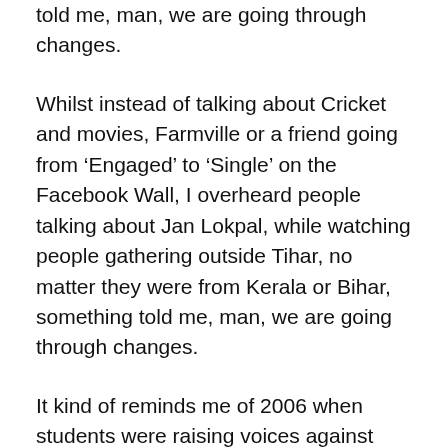told me, man, we are going through changes.
Whilst instead of talking about Cricket and movies, Farmville or a friend going from ‘Engaged’ to ‘Single’ on the Facebook Wall, I overheard people talking about Jan Lokpal, while watching people gathering outside Tihar, no matter they were from Kerala or Bihar, something told me, man, we are going through changes.
It kind of reminds me of 2006 when students were raising voices against reservation, which actually got crushed somehow as they lacked a leader and every political party was trying to get something out of the crisis and how, this time the agitation seems more wide spread where everyone is joining in, be it village or city, as obviously government is panicking using Lathis against peaceful protesters, beating up Babas at midnight, blaming civil society with genuine CDs which are now